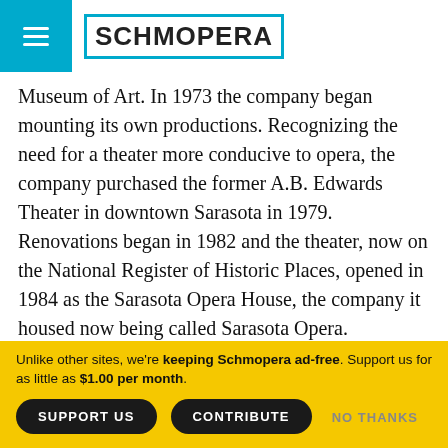SCHMOPERA
Museum of Art. In 1973 the company began mounting its own productions. Recognizing the need for a theater more conducive to opera, the company purchased the former A.B. Edwards Theater in downtown Sarasota in 1979. Renovations began in 1982 and the theater, now on the National Register of Historic Places, opened in 1984 as the Sarasota Opera House, the company it housed now being called Sarasota Opera.
Pearl FishersSince 1983 the company has been under the artistic leadership of Victor DeRenzi.
Unlike other sites, we're keeping Schmopera ad-free. Support us for as little as $1.00 per month.
SUPPORT US
CONTRIBUTE
NO THANKS